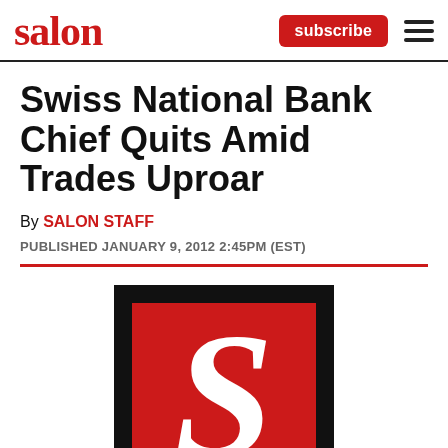salon
Swiss National Bank Chief Quits Amid Trades Uproar
By SALON STAFF
PUBLISHED JANUARY 9, 2012 2:45PM (EST)
[Figure (logo): Salon magazine logo: white letter S on red background with thick black border]